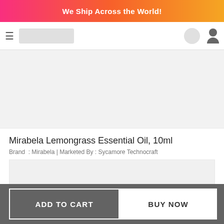We Ship Across the World!
[Figure (screenshot): Navigation bar with hamburger menu, logo placeholder, search icon, and user account icon]
[Figure (photo): Gray placeholder area for advertisement or product image banner]
Mirabela Lemongrass Essential Oil, 10ml
Brand  : Mirabela | Marketed By : Sycamore Technocraft
[Figure (photo): Product image placeholder - gray rectangle]
ADD TO CART
BUY NOW